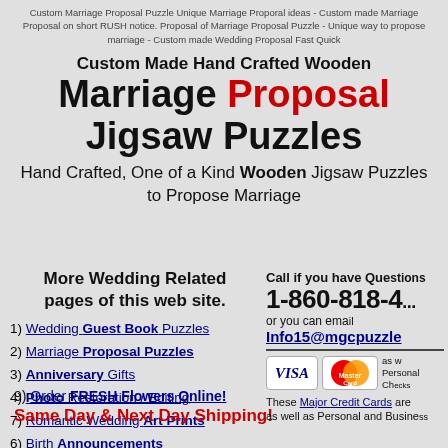Custom Marriage Proposal Puzzle Unique Marriage Proporal ideas - Custom made Marriage Proposal on short RUSH notice. Proposal of Marriage Proposal Puzzle - Unique way to propose marriage - Custom made Wedding Proposal Fast Quick
Custom Made Hand Crafted Wooden Marriage Proposal Jigsaw Puzzles
Hand Crafted, One of a Kind Wooden Jigsaw Puzzles to Propose Marriage
More Wedding Related pages of this web site.
1) Wedding Guest Book Puzzles
2) Marriage Proposal Puzzles
3) Anniversary Gifts
4) Photo Restoration / Editing
7) Romantic Wedding Art Prints
6) Birth Announcements
5) Wedding Favors
8) Links
9) Order FRESH Flowers Online! Same Day & Next Day Shipping!
Call if you have Questions 1-860-818-4 or you can email Info15@mgcpuzzle
[Figure (other): Visa and MasterCard credit card logos]
These Major Credit Cards are accepted as well as Personal and Business Checks